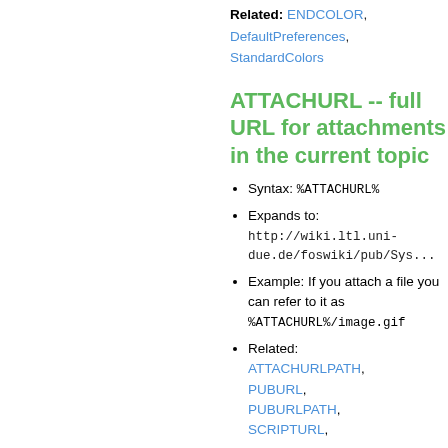Related: ENDCOLOR, DefaultPreferences, StandardColors
ATTACHURL -- full URL for attachments in the current topic
Syntax: %ATTACHURL%
Expands to: http://wiki.ltl.uni-due.de/foswiki/pub/Sys...
Example: If you attach a file you can refer to it as %ATTACHURL%/image.gif
Related: ATTACHURLPATH, PUBURL, PUBURLPATH, SCRIPTURL,